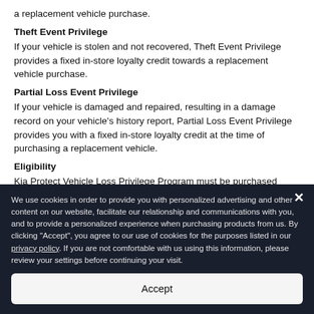a replacement vehicle purchase.
Theft Event Privilege
If your vehicle is stolen and not recovered, Theft Event Privilege provides a fixed in-store loyalty credit towards a replacement vehicle purchase.
Partial Loss Event Privilege
If your vehicle is damaged and repaired, resulting in a damage record on your vehicle's history report, Partial Loss Event Privilege provides you with a fixed in-store loyalty credit at the time of purchasing a replacement vehicle.
Eligibility
Kia Protect Vehicle Loss Privilege Program must be purchased within 7 days of the delivery date on the vehicle.
We use cookies in order to provide you with personalized advertising and other content on our website, facilitate our relationship and communications with you, and to provide a personalized experience when purchasing products from us. By clicking "Accept", you agree to our use of cookies for the purposes listed in our privacy policy. If you are not comfortable with us using this information, please review your settings before continuing your visit.
Accept